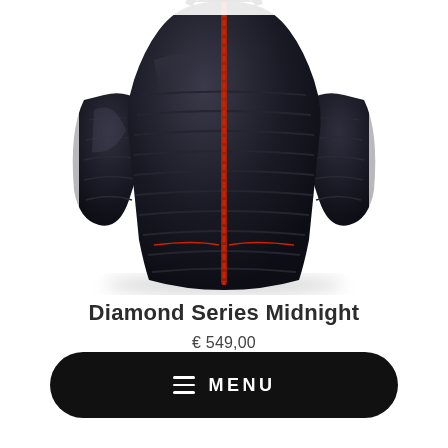[Figure (photo): A dark navy/black quilted down jacket (Diamond Series Midnight) on a white background, shown from the front with a red zipper accent, partially cropped at top]
Diamond Series Midnight
€ 549,00
[Figure (screenshot): Black rounded pill-shaped menu button with hamburger icon and MENU text in white]